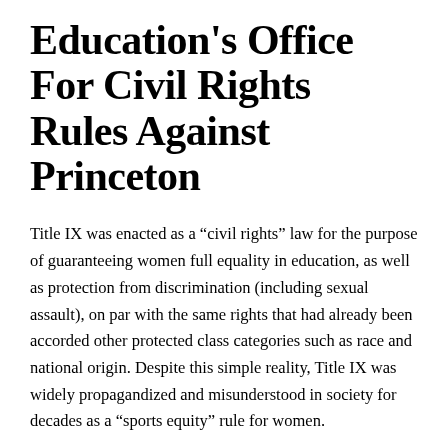Education's Office For Civil Rights Rules Against Princeton
Title IX was enacted as a “civil rights” law for the purpose of guaranteeing women full equality in education, as well as protection from discrimination (including sexual assault), on par with the same rights that had already been accorded other protected class categories such as race and national origin. Despite this simple reality, Title IX was widely propagandized and misunderstood in society for decades as a “sports equity” rule for women.
The Department of Education’s Office for Civil Rights...